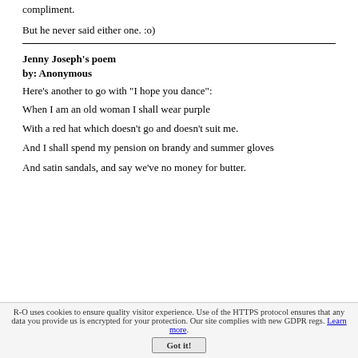compliment.
But he never said either one. :o)
Jenny Joseph's poem
by: Anonymous
Here's another to go with "I hope you dance":
When I am an old woman I shall wear purple
With a red hat which doesn't go and doesn't suit me.
And I shall spend my pension on brandy and summer gloves
And satin sandals, and say we've no money for butter.
R-O uses cookies to ensure quality visitor experience. Use of the HTTPS protocol ensures that any data you provide us is encrypted for your protection. Our site complies with new GDPR regs. Learn more. Got it!